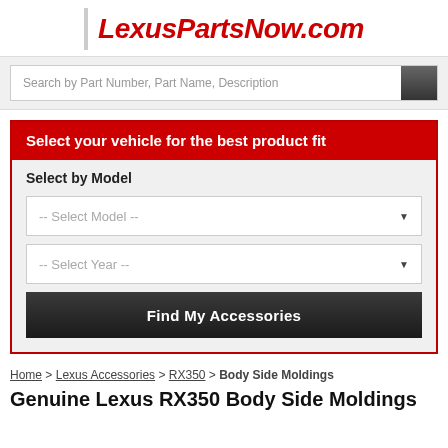LexusPartsNow.com
Search by Part Number, Part Name, Description
Select your vehicle for the best product fit
Select by Model
-- Select Model --
-- Select Year --
Find My Accessories
Home > Lexus Accessories > RX350 > Body Side Moldings
Genuine Lexus RX350 Body Side Moldings